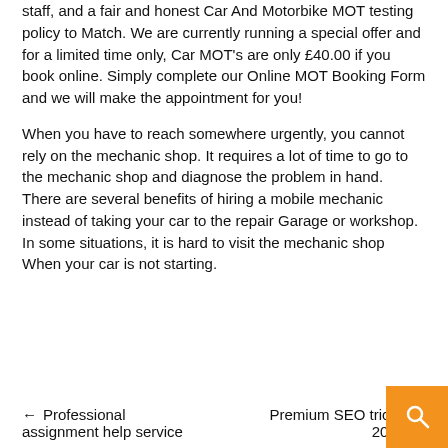staff, and a fair and honest Car And Motorbike MOT testing policy to Match. We are currently running a special offer and for a limited time only, Car MOT's are only £40.00 if you book online. Simply complete our Online MOT Booking Form and we will make the appointment for you!
When you have to reach somewhere urgently, you cannot rely on the mechanic shop. It requires a lot of time to go to the mechanic shop and diagnose the problem in hand. There are several benefits of hiring a mobile mechanic instead of taking your car to the repair Garage or workshop. In some situations, it is hard to visit the mechanic shop When your car is not starting.
← Professional assignment help service    Premium SEO tricks for 2022 →